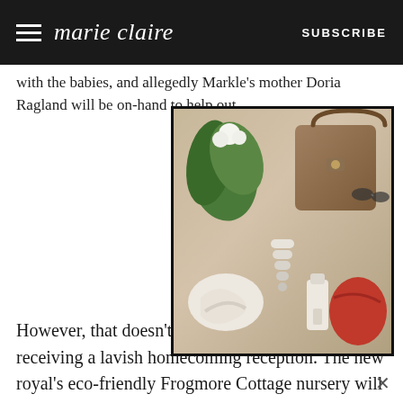marie claire | SUBSCRIBE
with the babies, and allegedly Markle's mother Doria Ragland will be on-hand to help out.
[Figure (photo): Advertisement or editorial photo showing lifestyle items including a leather bag, white sculptural objects, a red rounded item, and a bottle arranged on a surface with green foliage in the background.]
However, that doesn't mean baby Sussex won't be receiving a lavish homecoming reception. The new royal's eco-friendly Frogmore Cottage nursery will